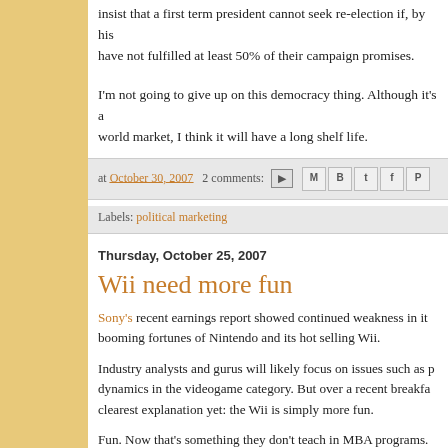insist that a first term president cannot seek re-election if, by his have not fulfilled at least 50% of their campaign promises.
I'm not going to give up on this democracy thing. Although it's a world market, I think it will have a long shelf life.
at October 30, 2007  2 comments:  Labels: political marketing
Thursday, October 25, 2007
Wii need more fun
Sony's recent earnings report showed continued weakness in it booming fortunes of Nintendo and its hot selling Wii.
Industry analysts and gurus will likely focus on issues such as p dynamics in the videogame category. But over a recent breakfa clearest explanation yet: the Wii is simply more fun.
Fun. Now that's something they don't teach in MBA programs.
My friend made a powerful point, citing the Consumer Electroni and Nintendo called their reactions compared to